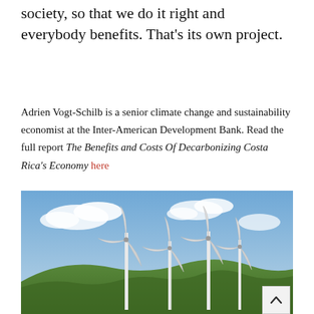everyone needs to discuss how to reorganize society, so that we do it right and everybody benefits. That's its own project.
Adrien Vogt-Schilb is a senior climate change and sustainability economist at the Inter-American Development Bank. Read the full report The Benefits and Costs Of Decarbonizing Costa Rica's Economy here
[Figure (photo): Photograph of several wind turbines on a green hillside against a blue sky with white clouds.]